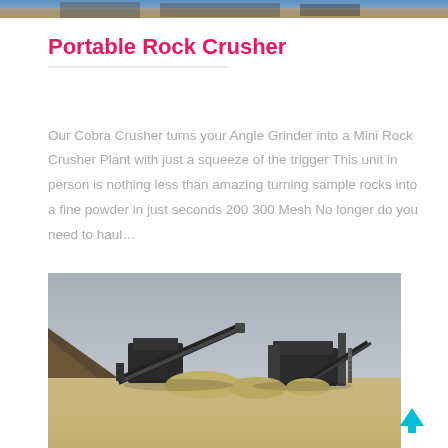[Figure (photo): Partial top strip showing a construction/mining site photograph cropped at the top of the page]
Portable Rock Crusher
Our Cobra Crusher turns your Angle Grinder into a Mini Rock Crusher Plant with just a squeeze of the trigger This unit in person is nothing less than amazing turning sample rocks into a fine powder in just seconds 200 300 Mesh No longer do you need to haul...
[Figure (photo): Photograph of a portable rock crushing plant with conveyor belts and machinery at a mining site, with gravel piles and sandy ground in the foreground under a hazy sky]